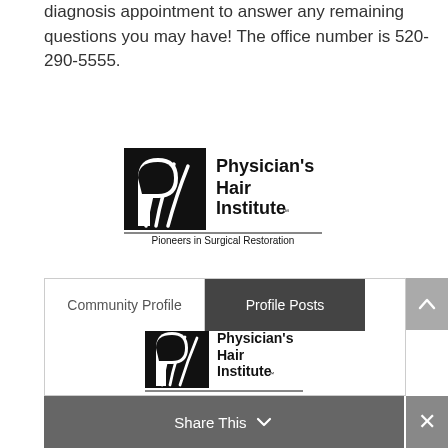diagnosis appointment to answer any remaining questions you may have! The office number is 520-290-5555.
[Figure (logo): Physician's Hair Institute logo - Pioneers in Surgical Restoration]
Community Profile | Profile Posts
[Figure (logo): Physician's Hair Institute logo (smaller) inside profile posts panel - Pioneers in Surgical Restoration]
Share This